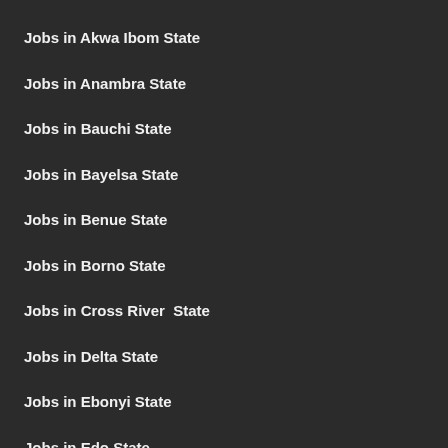Jobs in Akwa Ibom State
Jobs in Anambra State
Jobs in Bauchi State
Jobs in Bayelsa State
Jobs in Benue State
Jobs in Borno State
Jobs in Cross River  State
Jobs in Delta State
Jobs in Ebonyi State
Jobs in Edo State